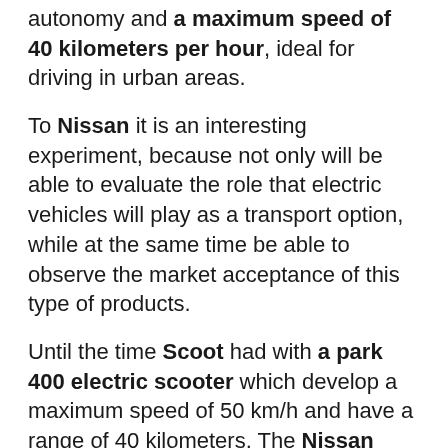autonomy and a maximum speed of 40 kilometers per hour, ideal for driving in urban areas.
To Nissan it is an interesting experiment, because not only will be able to evaluate the role that electric vehicles will play as a transport option, while at the same time be able to observe the market acceptance of this type of products.
Until the time Scoot had with a park 400 electric scooter which develop a maximum speed of 50 km/h and have a range of 40 kilometers. The Nissan New Mobility Concept is added to the fleet, with a rental price of $ 8, the half-hour or $ 80 for 12 hours.